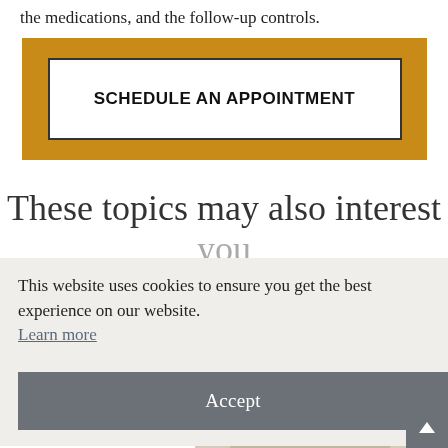the medications, and the follow-up controls.
[Figure (other): Gold/amber colored box containing a white rectangle with bold uppercase text 'SCHEDULE AN APPOINTMENT']
These topics may also interest you
This website uses cookies to ensure you get the best experience on our website. Learn more
Accept
[Figure (photo): Partial circular photo of a person, cropped, showing hands or body, in muted beige/tan tones]